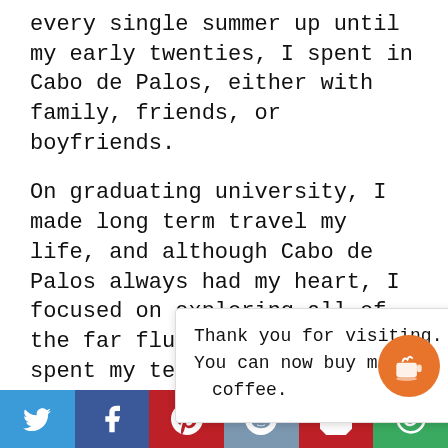every single summer up until my early twenties, I spent in Cabo de Palos, either with family, friends, or boyfriends.
On graduating university, I made long term travel my life, and although Cabo de Palos always had my heart, I focused on exploring all of the far flung places that I'd spent my teenage years dreaming about.
By the [obscured] tern Europe [obscured] all know [obscured]
Thank you for visiting.
You can now buy me a coffee.